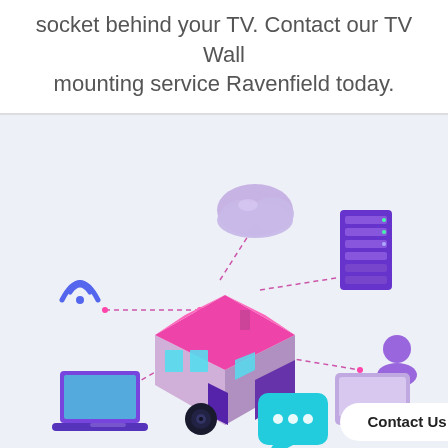socket behind your TV. Contact our TV Wall mounting service Ravenfield today.
[Figure (illustration): Smart home network illustration showing a 3D isometric house connected via dashed lines to various devices and services: WiFi symbol, cloud storage, server rack, laptop, security camera, chat bubble, user icon, tablet, and a 'Contact Us' button with a chat icon.]